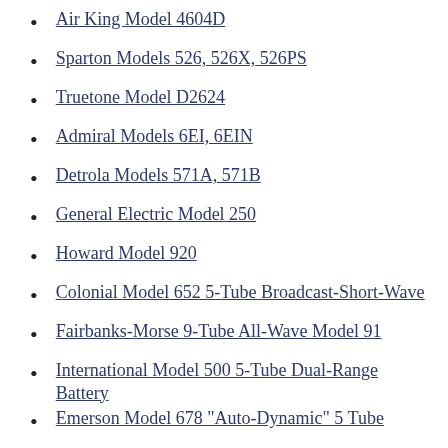Air King Model 4604D
Sparton Models 526, 526X, 526PS
Truetone Model D2624
Admiral Models 6EI, 6EIN
Detrola Models 571A, 571B
General Electric Model 250
Howard Model 920
Colonial Model 652 5-Tube Broadcast-Short-Wave
Fairbanks-Morse 9-Tube All-Wave Model 91
International Model 500 5-Tube Dual-Range Battery
Emerson Model 678 "Auto-Dynamic" 5 Tube
Sparton Carbons Nos. 330 and 331 Series